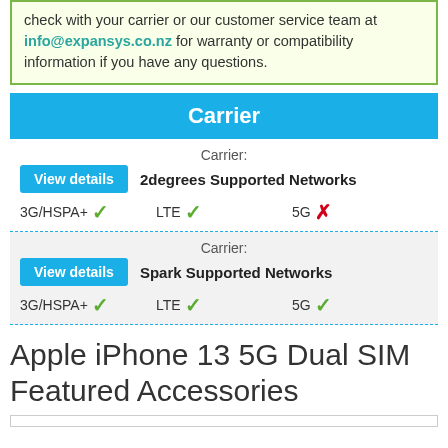check with your carrier or our customer service team at info@expansys.co.nz for warranty or compatibility information if you have any questions.
Carrier
Carrier: 2degrees Supported Networks
3G/HSPA+ ✓  LTE ✓  5G ✗
Carrier: Spark Supported Networks
3G/HSPA+ ✓  LTE ✓  5G ✓
Apple iPhone 13 5G Dual SIM Featured Accessories